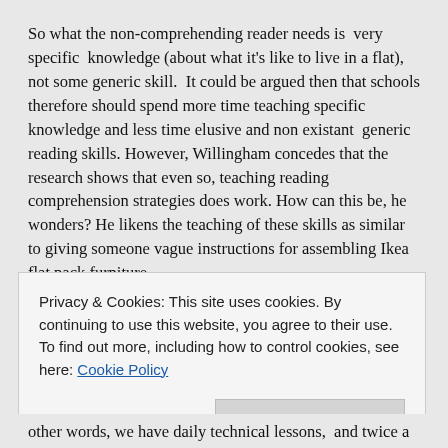So what the non-comprehending reader needs is very specific knowledge (about what it's like to live in a flat), not some generic skill. It could be argued then that schools therefore should spend more time teaching specific knowledge and less time elusive and non existant generic reading skills. However, Willingham concedes that the research shows that even so, teaching reading comprehension strategies does work. How can this be, he wonders? He likens the teaching of these skills as similar to giving someone vague instructions for assembling Ikea flat pack furniture.
'Put stuff together. Every so often, stop, look at it, and evaluate how it is going. It may also help to think back on other pieces
Privacy & Cookies: This site uses cookies. By continuing to use this website, you agree to their use.
To find out more, including how to control cookies, see here: Cookie Policy
other words, we have daily technical lessons, and twice a